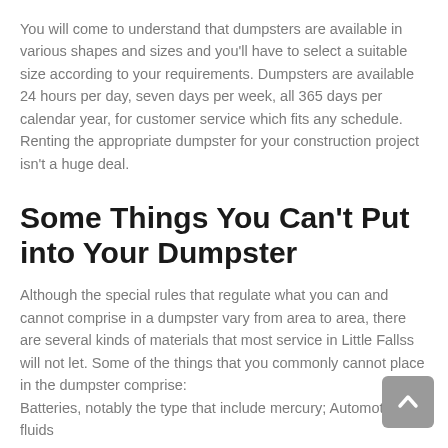You will come to understand that dumpsters are available in various shapes and sizes and you'll have to select a suitable size according to your requirements. Dumpsters are available 24 hours per day, seven days per week, all 365 days per calendar year, for customer service which fits any schedule. Renting the appropriate dumpster for your construction project isn't a huge deal.
Some Things You Can't Put into Your Dumpster
Although the special rules that regulate what you can and cannot comprise in a dumpster vary from area to area, there are several kinds of materials that most service in Little Fallss will not let. Some of the things that you commonly cannot place in the dumpster comprise:
Batteries, notably the type that include mercury; Automotive fluids